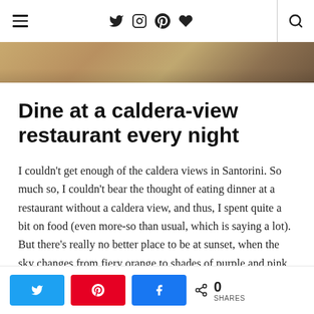≡   twitter instagram pinterest heart   search
[Figure (photo): Partial cropped image of a caldera-view restaurant scene with warm orange/brown tones]
Dine at a caldera-view restaurant every night
I couldn't get enough of the caldera views in Santorini. So much so, I couldn't bear the thought of eating dinner at a restaurant without a caldera view, and thus, I spent quite a bit on food (even more-so than usual, which is saying a lot). But there's really no better place to be at sunset, when the sky changes from fiery orange to shades of purple and pink, as the sun dips
Share buttons: Twitter, Pinterest, Facebook | 0 SHARES